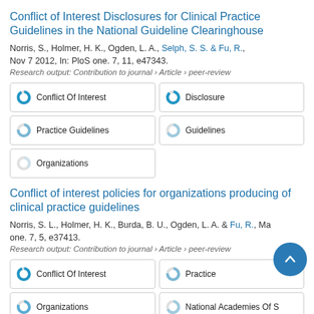Conflict of Interest Disclosures for Clinical Practice Guidelines in the National Guideline Clearinghouse
Norris, S., Holmer, H. K., Ogden, L. A., Selph, S. S. & Fu, R., Nov 7 2012, In: PloS one. 7, 11, e47343.
Research output: Contribution to journal › Article › peer-review
Conflict Of Interest
Disclosure
Practice Guidelines
Guidelines
Organizations
Conflict of interest policies for organizations producing of clinical practice guidelines
Norris, S. L., Holmer, H. K., Burda, B. U., Ogden, L. A. & Fu, R., Ma one. 7, 5, e37413.
Research output: Contribution to journal › Article › peer-review
Conflict Of Interest
Practice
Organizations
National Academies Of S